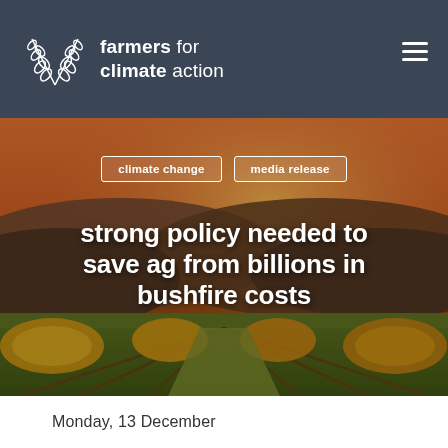[Figure (logo): Farmers for Climate Action logo with crossed wheat/leaf stalks icon on dark blue-grey header background]
climate change
media release
strong policy needed to save ag from billions in bushfire costs
[Figure (photo): Vineyard rows at sunset with golden light and hills in background]
Monday, 13 December